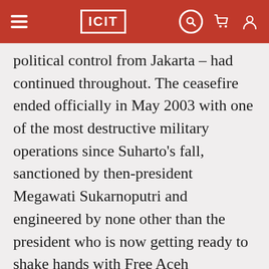ICIT
political control from Jakarta – had continued throughout. The ceasefire ended officially in May 2003 with one of the most destructive military operations since Suharto's fall, sanctioned by then-president Megawati Sukarnoputri and engineered by none other than the president who is now getting ready to shake hands with Free Aceh Movement (GAM) leaders: Susilo Bambang Yudhoyono, who was then minister of security.